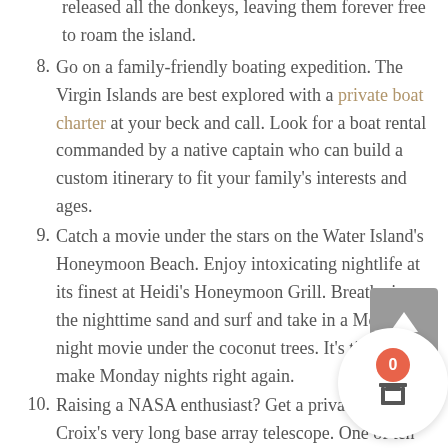released all the donkeys, leaving them forever free to roam the island.
8. Go on a family-friendly boating expedition. The Virgin Islands are best explored with a private boat charter at your beck and call. Look for a boat rental commanded by a native captain who can build a custom itinerary to fit your family's interests and ages.
9. Catch a movie under the stars on the Water Island's Honeymoon Beach. Enjoy intoxicating nightlife at its finest at Heidi's Honeymoon Grill. Breathe in the nighttime sand and surf and take in a Monday night movie under the coconut trees. It's time to make Monday nights right again.
10. Raising a NASA enthusiast? Get a private tour of... Croix's very long base array telescope. One of ten in...